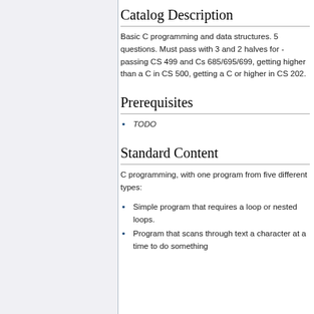Catalog Description
Basic C programming and data structures. 5 questions. Must pass with 3 and 2 halves for - passing CS 499 and Cs 685/695/699, getting higher than a C in CS 500, getting a C or higher in CS 202.
Prerequisites
TODO
Standard Content
C programming, with one program from five different types:
Simple program that requires a loop or nested loops.
Program that scans through text a character at a time to do something